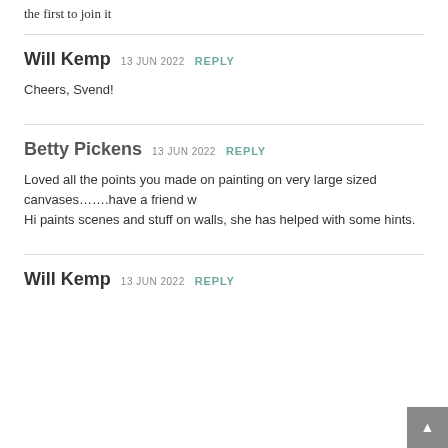the first to join it
Will Kemp  13 JUN 2022  REPLY
Cheers, Svend!
Betty Pickens  13 JUN 2022  REPLY
Loved all the points you made on painting on very large sized canvases…….have a friend w
Hi paints scenes and stuff on walls, she has helped with some hints.
Will Kemp  13 JUN 2022  REPLY